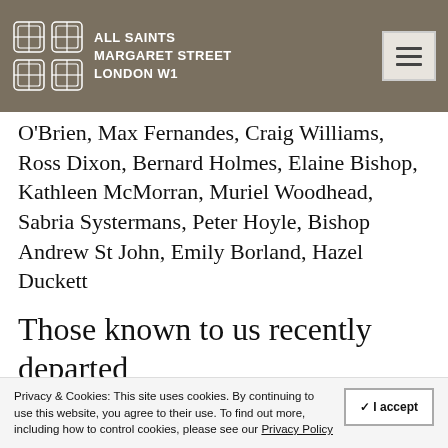ALL SAINTS MARGARET STREET LONDON W1
O'Brien, Max Fernandes, Craig Williams, Ross Dixon, Bernard Holmes, Elaine Bishop, Kathleen McMorran, Muriel Woodhead, Sabria Systermans, Peter Hoyle, Bishop Andrew St John, Emily Borland, Hazel Duckett
Those known to us recently departed
Rachel Browning, Henrietta Cohen, Colin...
Privacy & Cookies: This site uses cookies. By continuing to use this website, you agree to their use. To find out more, including how to control cookies, please see our Privacy Policy